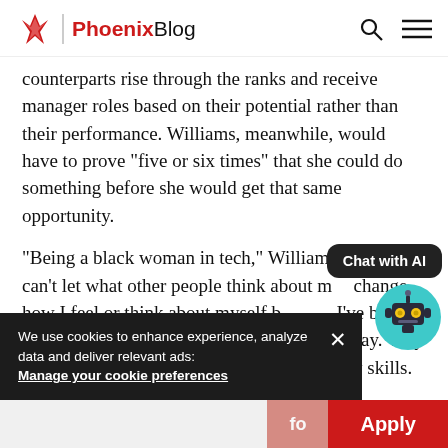PhoenixBlog
counterparts rise through the ranks and receive manager roles based on their potential rather than their performance. Williams, meanwhile, would have to prove “five or six times” that she could do something before she would get that same opportunity.
“Being a black woman in tech,” Williams says, “I can’t let what other people think about me change how I feel or think about myself be... I’ve been put in several situations where I’m just like, ‘Okay. Why am I even here? You’re not fully utilizing my skills. I’m not given the sa...
We use cookies to enhance experience, analyze data and deliver relevant ads: Manage your cookie preferences
[Figure (illustration): AI Chat widget with robot avatar and 'Chat with AI' bubble]
fo
Apply